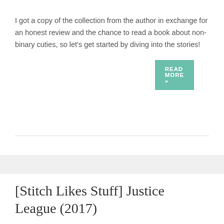I got a copy of the collection from the author in exchange for an honest review and the chance to read a book about non-binary cuties, so let's get started by diving into the stories!
READ MORE »
[Stitch Likes Stuff] Justice League (2017)
JULY 17, 2018
STITCH